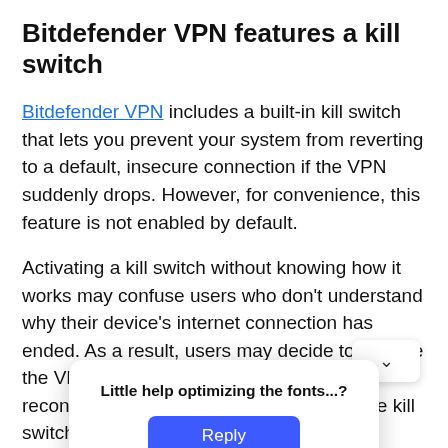Bitdefender VPN features a kill switch
Bitdefender VPN includes a built-in kill switch that lets you prevent your system from reverting to a default, insecure connection if the VPN suddenly drops. However, for convenience, this feature is not enabled by default.
Activating a kill switch without knowing how it works may confuse users who don’t understand why their device’s internet connection has ended. As a result, users may decide to remove the VPN client altogether instead of simply reconnecting to a VPN server or turning the kill switch off.
To togg[le the kill switch in] Bitdefe[nder’s VPN app an]d flip the Inte[rnet Kill Switch to p]revent
[Figure (screenshot): A popup dialog box with a chevron/dropdown button above it. The dialog reads 'Little help optimizing the fonts...?' with a blue 'Reply' button below.]